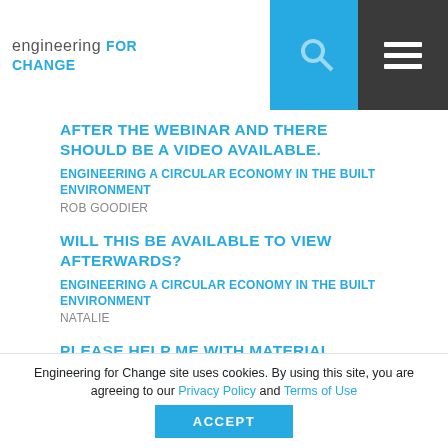engineering for change
AFTER THE WEBINAR AND THERE SHOULD BE A VIDEO AVAILABLE.
ENGINEERING A CIRCULAR ECONOMY IN THE BUILT ENVIRONMENT
ROB GOODIER
WILL THIS BE AVAILABLE TO VIEW AFTERWARDS?
ENGINEERING A CIRCULAR ECONOMY IN THE BUILT ENVIRONMENT
NATALIE
PLEASE HELP ME WITH MATERIAL TRAINING FOR SOLAR POWER OFF-GRID FOR ALL TRAININGS. I WILL
Engineering for Change site uses cookies. By using this site, you are agreeing to our Privacy Policy and Terms of Use
ACCEPT